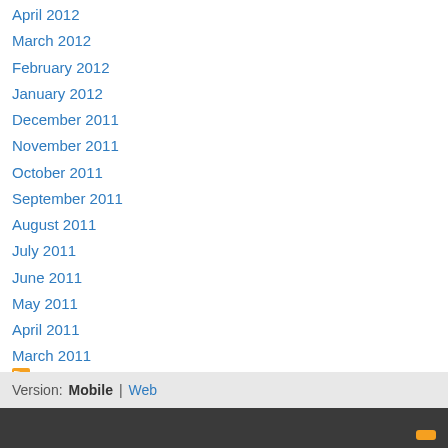April 2012
March 2012
February 2012
January 2012
December 2011
November 2011
October 2011
September 2011
August 2011
July 2011
June 2011
May 2011
April 2011
March 2011
February 2011
January 2011
RSS Feed
Version:  Mobile  |  Web